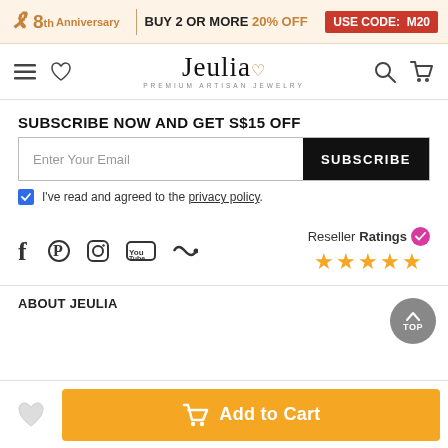8th Anniversary | BUY 2 OR MORE 20% OFF USE CODE: M20
[Figure (screenshot): Jeulia Premium Artisan Jewelry navigation bar with menu, heart, logo, search, and cart icons]
SUBSCRIBE NOW AND GET S$15 OFF
Enter Your Email  SUBSCRIBE
I've read and agreed to the privacy policy.
[Figure (logo): Social media icons: Facebook, Pinterest, Instagram, YouTube, Bloglovin and ResellerRatings badge with 5 stars]
ABOUT JEULIA
Add to Cart